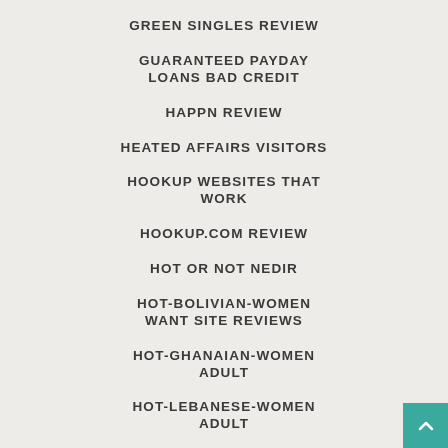GREEN SINGLES REVIEW
GUARANTEED PAYDAY LOANS BAD CREDIT
HAPPN REVIEW
HEATED AFFAIRS VISITORS
HOOKUP WEBSITES THAT WORK
HOOKUP.COM REVIEW
HOT OR NOT NEDIR
HOT-BOLIVIAN-WOMEN WANT SITE REVIEWS
HOT-GHANAIAN-WOMEN ADULT
HOT-LEBANESE-WOMEN ADULT